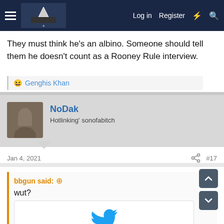Forum site header with hamburger menu, logo, Log in, Register, and search icons
They must think he's an albino. Someone should tell them he doesn't count as a Rooney Rule interview.
😆 Genghis Khan
NoDak
Hotlinking' sonofabitch
Jan 4, 2021  #17
bbgun said: ↑
wut?
[Twitter embed]